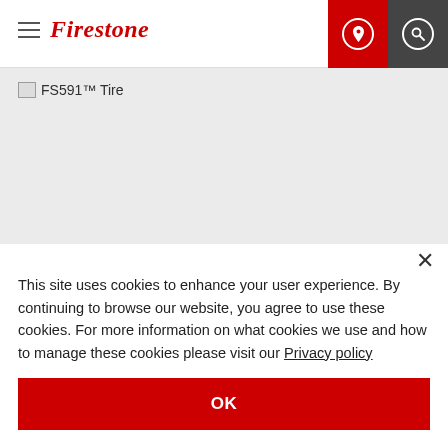Firestone
[Figure (screenshot): Broken image placeholder for FS591™ Tire product image]
FS591™ Tire
This site uses cookies to enhance your user experience. By continuing to browse our website, you agree to use these cookies. For more information on what cookies we use and how to manage these cookies please visit our Privacy policy
OK